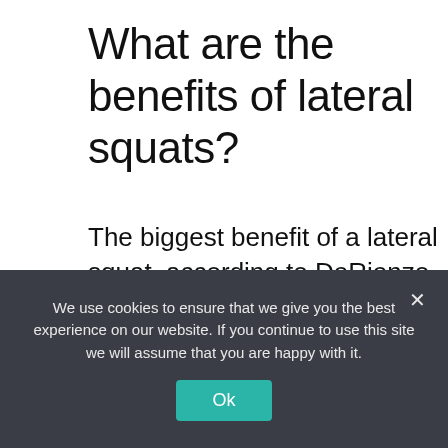What are the benefits of lateral squats?
The biggest benefit of a lateral squat, according to DeRienzo, is that it gets you working in a different plane of motion. So much of daily life happens in the sagittal plane–whether we're walking the dog, biking to the grocery
We use cookies to ensure that we give you the best experience on our website. If you continue to use this site we will assume that you are happy with it.
Ok